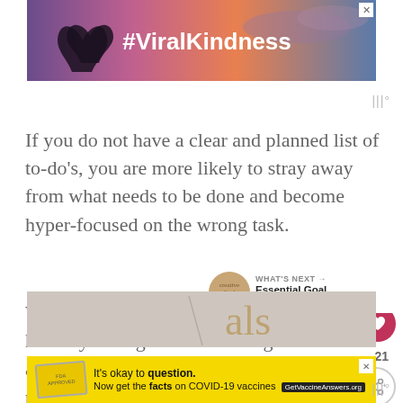[Figure (photo): Advertisement banner with #ViralKindness text over a sunset background with hand heart silhouettes, with close X button]
[Figure (other): Mute/audio icon (three vertical bars with degree symbol) in gray]
If you do not have a clear and planned list of to-do's, you are more likely to stray away from what needs to be done and become hyper-focused on the wrong task.
[Figure (other): Pink heart like button]
21
[Figure (other): Share button (circle with share icon)]
With no clear direction, you may stop halfway through a task and begin another, which may hinder your overall productivity.
[Figure (other): What's Next box with goal setting thumbnail image and text: WHAT'S NEXT → Essential Goal Planning Tools]
[Figure (photo): Partial photo strip showing handwriting/goals cursive text on paper]
[Figure (other): Advertisement banner with yellow background: It's okay to question. Now get the facts on COVID-19 vaccines GetVaccineAnswers.org]
[Figure (other): Mute/audio icon (three vertical bars with degree symbol) in gray at bottom right]